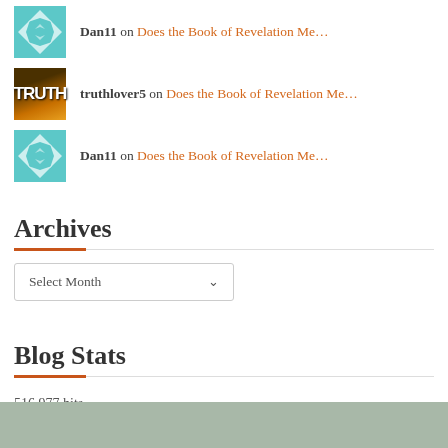Dan11 on Does the Book of Revelation Me…
truthlover5 on Does the Book of Revelation Me…
Dan11 on Does the Book of Revelation Me…
Archives
Select Month
Blog Stats
516,977 hits